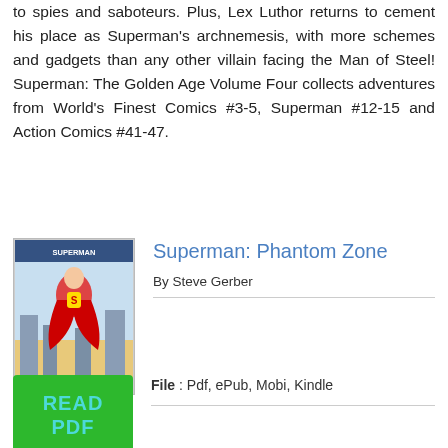to spies and saboteurs. Plus, Lex Luthor returns to cement his place as Superman's archnemesis, with more schemes and gadgets than any other villain facing the Man of Steel! Superman: The Golden Age Volume Four collects adventures from World's Finest Comics #3-5, Superman #12-15 and Action Comics #41-47.
[Figure (illustration): Book cover of Superman: Phantom Zone]
Superman: Phantom Zone
By Steve Gerber
[Figure (other): Green READ PDF button]
File : Pdf, ePub, Mobi, Kindle
Publisher : DC Comics